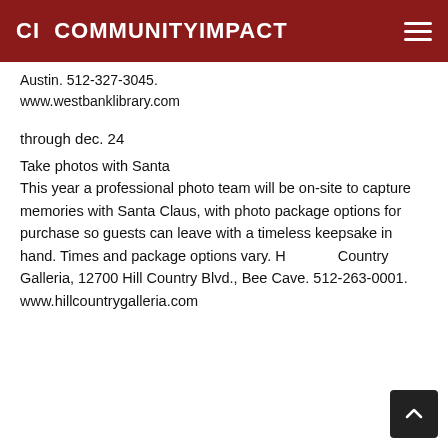CI COMMUNITYIMPACT
Austin. 512-327-3045.
www.westbanklibrary.com
through dec. 24
Take photos with Santa
This year a professional photo team will be on-site to capture memories with Santa Claus, with photo package options for purchase so guests can leave with a timeless keepsake in hand. Times and package options vary. Hill Country Galleria, 12700 Hill Country Blvd., Bee Cave. 512-263-0001. www.hillcountrygalleria.com